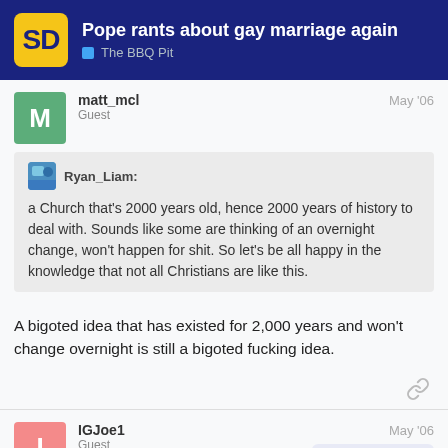Pope rants about gay marriage again | The BBQ Pit
matt_mcl
Guest
May '06
Ryan_Liam: a Church that's 2000 years old, hence 2000 years of history to deal with. Sounds like some are thinking of an overnight change, won't happen for shit. So let's be all happy in the knowledge that not all Christians are like this.
A bigoted idea that has existed for 2,000 years and won't change overnight is still a bigoted fucking idea.
IGJoe1
Guest
May '06
16 / 211